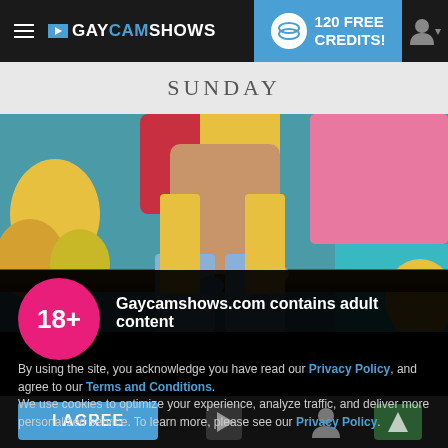GAYCAMSHOWS — 120 FREE CREDITS!
SUNDAY
[Figure (photo): Young man shirtless in ripped jeans sitting in front of colorful graffiti wall]
Gaycamshows.com contains adult content
By using the site, you acknowledge you have read our Privacy Policy, and agree to our Terms and Conditions.
We use cookies to optimize your experience, analyze traffic, and deliver more personalized service. To learn more, please see our Privacy Policy.
I AGREE